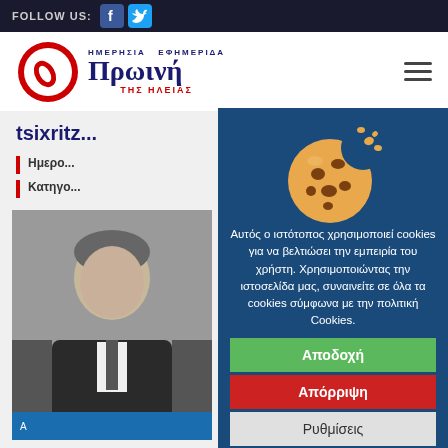FOLLOW US:
[Figure (logo): Πρωινή της Ηλείας newspaper logo - red circle with pen icon and Greek text ΗΜΕΡΗΣΙΑ ΕΦΗΜΕΡΙΔΑ Πρωινή ΤΗΣ ΗΛΕΙΑΣ]
tsixritz
Ημερο...
Κατηγο...
[Figure (photo): Man in dark suit seated]
Αυτός ο ιστότοπος χρησιμοποιεί cookies για να βελτιώσει την εμπειρία του χρήστη. Χρησιμοποιώντας την ιστοσελίδα μας, συναινείτε σε όλα τα cookies σύμφωνα με την πολιτική Cookies.
Αποδοχή
Απόρριψη
Ρυθμίσεις
Περισσότερα